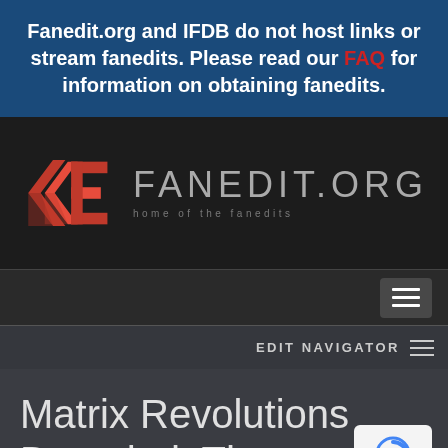Fanedit.org and IFDB do not host links or stream fanedits. Please read our FAQ for information on obtaining fanedits.
[Figure (logo): Fanedit.org logo with red geometric FE icon and gray FANEDIT.ORG text with tagline 'home of the fanedits']
[Figure (screenshot): Navigation hamburger menu button (three horizontal lines) on dark background]
EDIT NAVIGATOR
Matrix Revolutions Decoded, The
[Figure (other): Google reCAPTCHA badge with blue arrow icon and Privacy - Terms text]